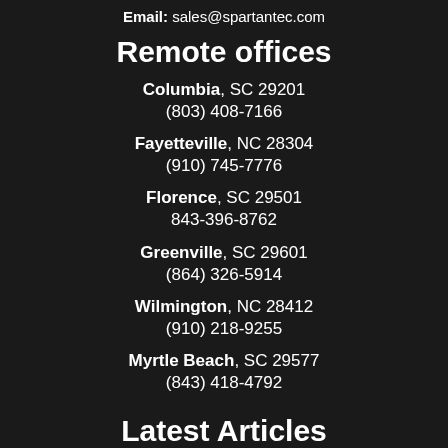Email: sales@spartantec.com
Remote offices
Columbia, SC 29201
(803) 408-7166
Fayetteville, NC 28304
(910) 745-7776
Florence, SC 29501
843-396-8762
Greenville, SC 29601
(864) 326-5914
Wilmington, NC 28412
(910) 218-9255
Myrtle Beach, SC 29577
(843) 418-4792
Latest Articles